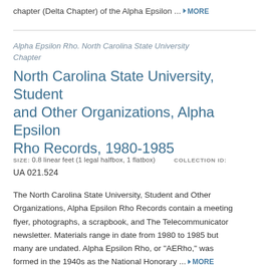chapter (Delta Chapter) of the Alpha Epsilon … ▾ MORE
Alpha Epsilon Rho. North Carolina State University Chapter
North Carolina State University, Student and Other Organizations, Alpha Epsilon Rho Records, 1980-1985
SIZE: 0.8 linear feet (1 legal halfbox, 1 flatbox)  COLLECTION ID: UA 021.524
The North Carolina State University, Student and Other Organizations, Alpha Epsilon Rho Records contain a meeting flyer, photographs, a scrapbook, and The Telecommunicator newsletter. Materials range in date from 1980 to 1985 but many are undated. Alpha Epsilon Rho, or "AERho," was formed in the 1940s as the National Honorary … ▾ MORE